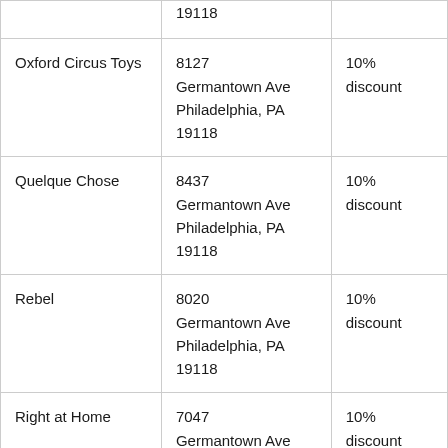|  | 19118 |  |
| Oxford Circus Toys | 8127 Germantown Ave Philadelphia, PA 19118 | 10% discount |
| Quelque Chose | 8437 Germantown Ave Philadelphia, PA 19118 | 10% discount |
| Rebel | 8020 Germantown Ave Philadelphia, PA 19118 | 10% discount |
| Right at Home | 7047 Germantown Ave #103 | 10% discount |